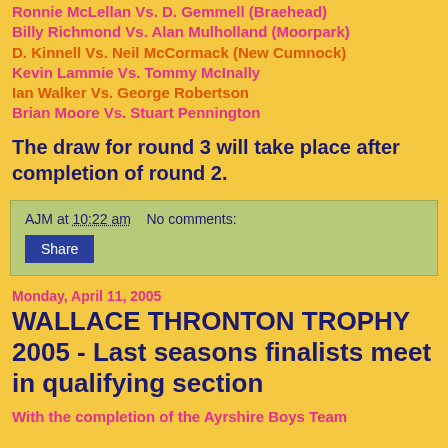Ronnie McLellan Vs. D. Gemmell (Braehead)
Billy Richmond Vs. Alan Mulholland (Moorpark)
D. Kinnell Vs. Neil McCormack (New Cumnock)
Kevin Lammie Vs. Tommy McInally
Ian Walker Vs. George Robertson
Brian Moore Vs. Stuart Pennington
The draw for round 3 will take place after completion of round 2.
AJM at 10:22 am   No comments:
Share
Monday, April 11, 2005
WALLACE THRONTON TROPHY 2005 - Last seasons finalists meet in qualifying section
With the completion of the Ayrshire Boys Team